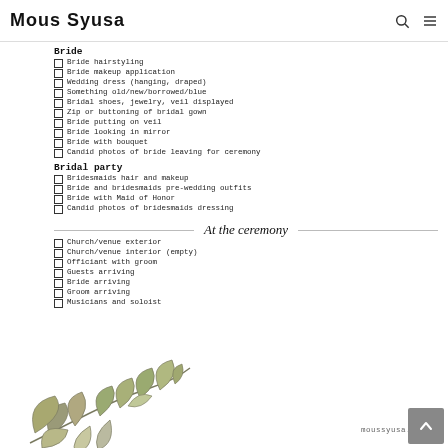Mous Syusa
Bride
Bride hairstyling
Bride makeup application
Wedding dress (hanging, draped)
Something old/new/borrowed/blue
Bridal shoes, jewelry, veil displayed
Zip or buttoning of bridal gown
Bride putting on veil
Bride looking in mirror
Bride with bouquet
Candid photos of bride leaving for ceremony
Bridal party
Bridesmaids hair and makeup
Bride and bridesmaids pre-wedding outfits
Bride with Maid of Honor
Candid photos of bridesmaids dressing
At the ceremony
Church/venue exterior
Church/venue interior (empty)
Officiant with groom
Guests arriving
Bride arriving
Groom arriving
Musicians and soloist
[Figure (illustration): Decorative botanical illustration of leaves and branches in muted olive/sage green tones]
moussyusa.com